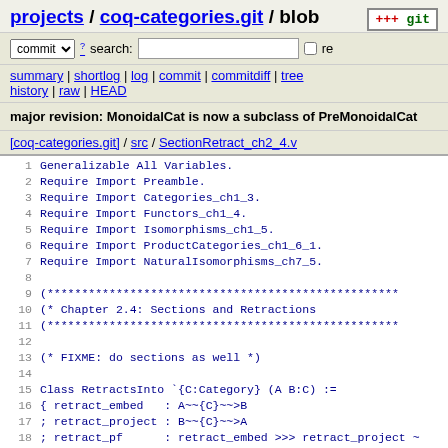projects / coq-categories.git / blob  +++ git
commit search: re
summary | shortlog | log | commit | commitdiff | tree history | raw | HEAD
major revision: MonoidalCat is now a subclass of PreMonoidalCat
[coq-categories.git] / src / SectionRetract_ch2_4.v
1  Generalizable All Variables.
2  Require Import Preamble.
3  Require Import Categories_ch1_3.
4  Require Import Functors_ch1_4.
5  Require Import Isomorphisms_ch1_5.
6  Require Import ProductCategories_ch1_6_1.
7  Require Import NaturalIsomorphisms_ch7_5.
8
9  (***********************************************
10 (* Chapter 2.4: Sections and Retractions
11 (***********************************************
12
13 (* FIXME: do sections as well *)
14
15 Class RetractsInto `{C:Category} (A B:C) :=
16 { retract_embed  : A~~{C}~~>B
17 ; retract_project : B~~{C}~~>A
18 ; retract_pf     : retract_embed >>> retract_project ~
19 }.